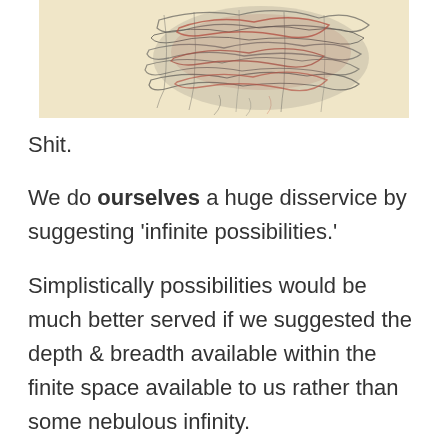[Figure (illustration): A tangled mass of threads or yarn in dark grey, red, and mixed colors, appearing like a bird's nest or knotted ball of fiber, on a warm beige/tan background.]
Shit.
We do ourselves a huge disservice by suggesting 'infinite possibilities.'
Simplistically possibilities would be much better served if we suggested the depth & breadth available within the finite space available to us rather than some nebulous infinity.
Why? Because while finite may sound